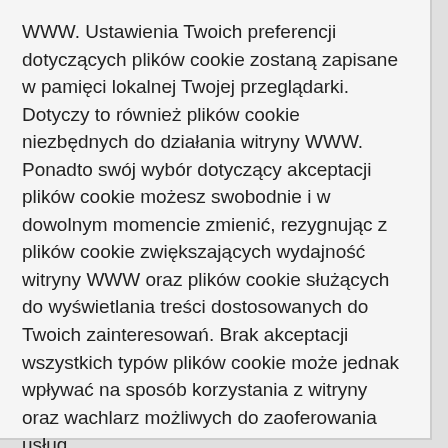WWW. Ustawienia Twoich preferencji dotyczących plików cookie zostaną zapisane w pamięci lokalnej Twojej przeglądarki. Dotyczy to również plików cookie niezbędnych do działania witryny WWW. Ponadto swój wybór dotyczący akceptacji plików cookie możesz swobodnie i w dowolnym momencie zmienić, rezygnując z plików cookie zwiększających wydajność witryny WWW oraz plików cookie służących do wyświetlania treści dostosowanych do Twoich zainteresowań. Brak akceptacji wszystkich typów plików cookie może jednak wpływać na sposób korzystania z witryny oraz wachlarz możliwych do zaoferowania usług.
Modyfikuj preferencje dot. plików cookie
Akceptuj wszystkie pliki cookie